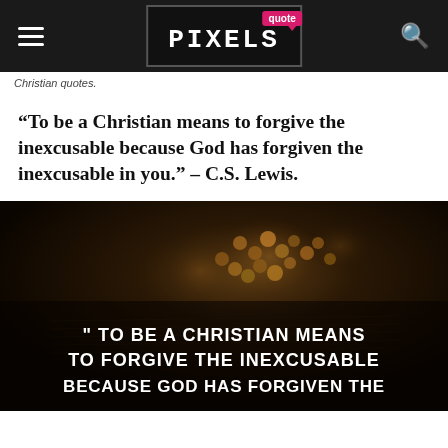quote PIXELS
Christian quotes.
“To be a Christian means to forgive the inexcusable because God has forgiven the inexcusable in you.” – C.S. Lewis.
[Figure (photo): Dark photo of rosary beads on an open book/Bible, with bold white uppercase text overlay reading: " TO BE A CHRISTIAN MEANS TO FORGIVE THE INEXCUSABLE BECAUSE GOD HAS FORGIVEN THE]